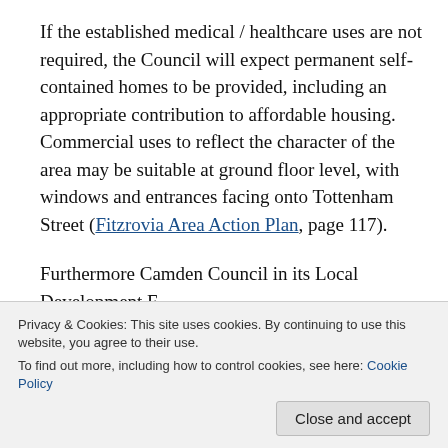If the established medical / healthcare uses are not required, the Council will expect permanent self-contained homes to be provided, including an appropriate contribution to affordable housing. Commercial uses to reflect the character of the area may be suitable at ground floor level, with windows and entrances facing onto Tottenham Street (Fitzrovia Area Action Plan, page 117).
Furthermore Camden Council in its Local Development F...
Privacy & Cookies: This site uses cookies. By continuing to use this website, you agree to their use. To find out more, including how to control cookies, see here: Cookie Policy
The Council will aim to make full use of the capacity for housing by … regarding housing as the